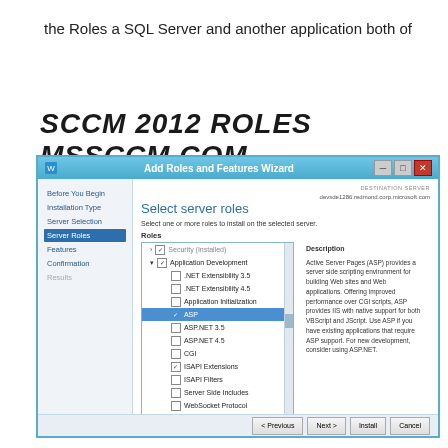the Roles a SQL Server and another application both of
SCCM 2012 ROLES MSSCCM.COM
[Figure (screenshot): Windows Server 2012 Add Roles and Features Wizard screenshot showing 'Select server roles' page. Left navigation panel shows: Before You Begin, Installation Type, Server Selection, Server Roles (highlighted/active), Features, Confirmation, Results. Main panel shows a list of roles including Security (Installed), Application Development (expanded) with sub-items: .NET Extensibility 3.5, .NET Extensibility 4.5, Application Initialization, ASP (selected/highlighted in blue with checkbox), ASP.NET 3.5, ASP.NET 4.5, CGI, ISAPI Extensions (checked), ISAPI Filters, Server Side Includes, WebSocket Protocol, FTP Server (Installed), Management Tools (Installed). Right panel shows description about Active Server Pages (ASP). Bottom has Previous, Next, Install, Cancel buttons. Title bar shows 'Add Roles and Features Wizard'.]